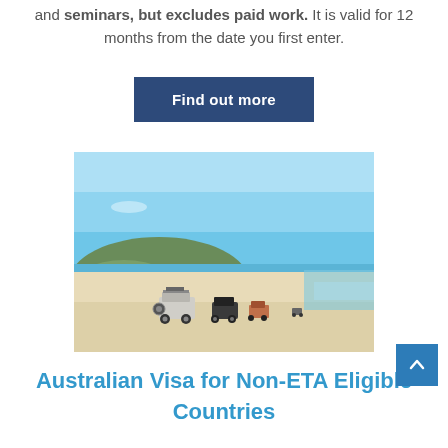and seminars, but excludes paid work. It is valid for 12 months from the date you first enter.
Find out more
[Figure (photo): Photo of SUVs/4WDs driving along a wide sandy beach with blue sky, green headland in the background and ocean waves to the right.]
Australian Visa for Non-ETA Eligible Countries